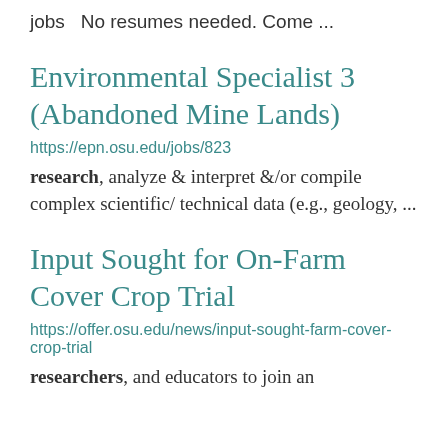jobs  No resumes needed. Come ...
Environmental Specialist 3 (Abandoned Mine Lands)
https://epn.osu.edu/jobs/823
research, analyze & interpret &/or compile complex scientific/ technical data (e.g., geology, ...
Input Sought for On-Farm Cover Crop Trial
https://offer.osu.edu/news/input-sought-farm-cover-crop-trial
researchers, and educators to join an